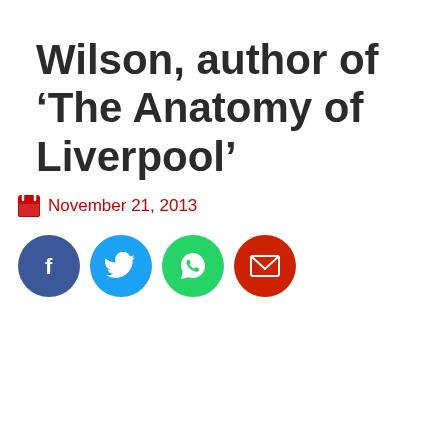Wilson, author of ‘The Anatomy of Liverpool’
November 21, 2013
[Figure (infographic): Four social share buttons: Facebook (blue circle), Twitter (light blue circle), WhatsApp (green circle), Email (red circle)]